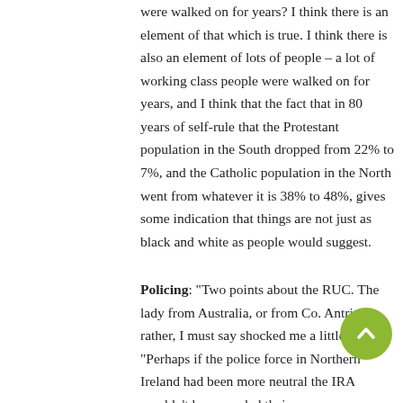were walked on for years? I think there is an element of that which is true. I think there is also an element of lots of people – a lot of working class people were walked on for years, and I think that the fact that in 80 years of self-rule that the Protestant population in the South dropped from 22% to 7%, and the Catholic population in the North went from whatever it is 38% to 48%, gives some indication that things are not just as black and white as people would suggest.
Policing: "Two points about the RUC. The lady from Australia, or from Co. Antrim rather, I must say shocked me a little bit. "Perhaps if the police force in Northern Ireland had been more neutral the IRA wouldn't have needed their
[Figure (other): Green circular scroll-to-top button with upward chevron arrow]